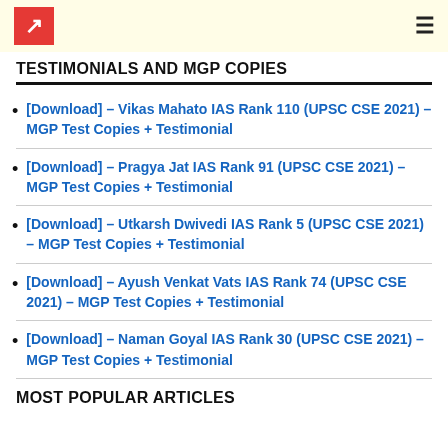TESTIMONIALS AND MGP COPIES
[Download] – Vikas Mahato IAS Rank 110 (UPSC CSE 2021) – MGP Test Copies + Testimonial
[Download] – Pragya Jat IAS Rank 91 (UPSC CSE 2021) – MGP Test Copies + Testimonial
[Download] – Utkarsh Dwivedi IAS Rank 5 (UPSC CSE 2021) – MGP Test Copies + Testimonial
[Download] – Ayush Venkat Vats IAS Rank 74 (UPSC CSE 2021) – MGP Test Copies + Testimonial
[Download] – Naman Goyal IAS Rank 30 (UPSC CSE 2021) – MGP Test Copies + Testimonial
MOST POPULAR ARTICLES